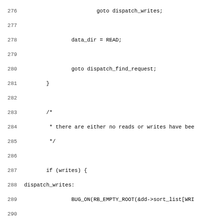Source code listing, lines 276-307, showing C kernel deadline I/O scheduler dispatch logic including goto dispatch_writes, data_dir assignments, dispatch_find_request label, and fifo checks.